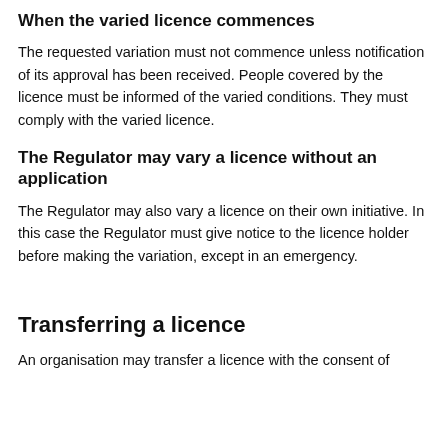When the varied licence commences
The requested variation must not commence unless notification of its approval has been received. People covered by the licence must be informed of the varied conditions. They must comply with the varied licence.
The Regulator may vary a licence without an application
The Regulator may also vary a licence on their own initiative. In this case the Regulator must give notice to the licence holder before making the variation, except in an emergency.
Transferring a licence
An organisation may transfer a licence with the consent of